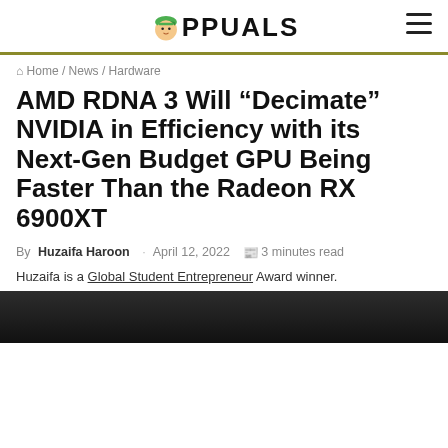APPUALS
Home / News / Hardware
AMD RDNA 3 Will “Decimate” NVIDIA in Efficiency with its Next-Gen Budget GPU Being Faster Than the Radeon RX 6900XT
By Huzaifa Haroon · April 12, 2022 📰 3 minutes read
Huzaifa is a Global Student Entrepreneur Award winner.
[Figure (photo): Dark background image at the bottom of the article]